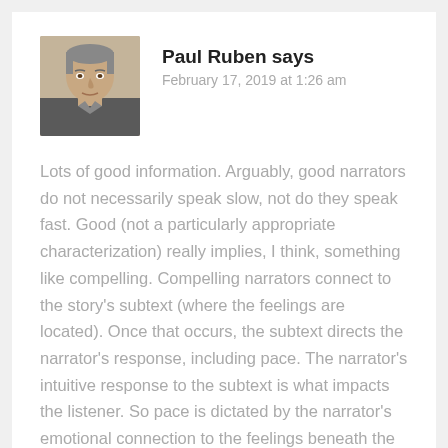[Figure (photo): Portrait photo of Paul Ruben, a middle-aged man]
Paul Ruben says
February 17, 2019 at 1:26 am
Lots of good information. Arguably, good narrators do not necessarily speak slow, not do they speak fast. Good (not a particularly appropriate characterization) really implies, I think, something like compelling. Compelling narrators connect to the story's subtext (where the feelings are located). Once that occurs, the subtext directs the narrator's response, including pace. The narrator's intuitive response to the subtext is what impacts the listener. So pace is dictated by the narrator's emotional connection to the feelings beneath the words (subtext). This organic